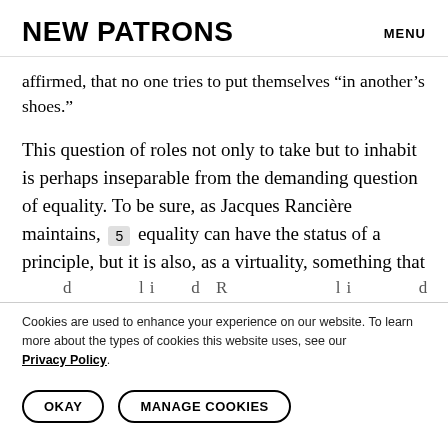NEW PATRONS   MENU
affirmed, that no one tries to put themselves “in another’s shoes.”
This question of roles not only to take but to inhabit is perhaps inseparable from the demanding question of equality. To be sure, as Jacques Rancière maintains, 5 equality can have the status of a principle, but it is also, as a virtuality, something that
Cookies are used to enhance your experience on our website. To learn more about the types of cookies this website uses, see our Privacy Policy.
OKAY   MANAGE COOKIES